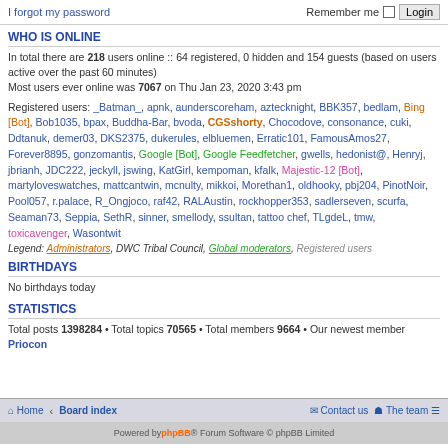I forgot my password | Remember me | Login
WHO IS ONLINE
In total there are 218 users online :: 64 registered, 0 hidden and 154 guests (based on users active over the past 60 minutes)
Most users ever online was 7067 on Thu Jan 23, 2020 3:43 pm
Registered users: _Batman_, apnk, aunderscoreham, aztecknight, BBK357, bedlam, Bing [Bot], Bob1035, bpax, Buddha-Bar, bvoda, CGSshorty, Chocodove, consonance, cuki, Ddtanuk, demer03, DKS2375, dukerules, elbluemen, Erratic101, FamousAmos27, Forever8895, gonzomantis, Google [Bot], Google Feedfetcher, gwells, hedonist@, Henryj, jbrianh, JDC222, jeckyll, jswing, KatGirl, kempoman, kfalk, Majestic-12 [Bot], martyloveswatches, mattcantwin, mcnulty, mikkoi, Morethan1, oldhooky, pbj204, PinotNoir, Pool057, r.palace, R_Ongjoco, raf42, RALAustin, rockhopper353, sadlerseven, scurfa, Seaman73, Seppia, SethR, sinner, smellody, ssultan, tattoo chef, TLgdeL, tmw, toxicavenger, Wasontwit
Legend: Administrators, DWC Tribal Council, Global moderators, Registered users
BIRTHDAYS
No birthdays today
STATISTICS
Total posts 1398284 • Total topics 70565 • Total members 9664 • Our newest member Priocon
Home · Board index | Contact us | The team | Powered by phpBB® Forum Software © phpBB Limited